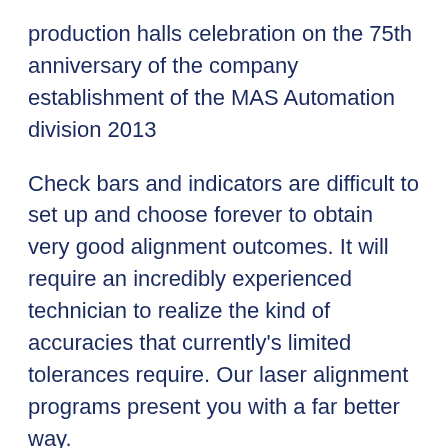production halls celebration on the 75th anniversary of the company establishment of the MAS Automation division 2013
Check bars and indicators are difficult to set up and choose forever to obtain very good alignment outcomes. It will require an incredibly experienced technician to realize the kind of accuracies that currently's limited tolerances require. Our laser alignment programs present you with a far better way.
The front bearing adopts substantial precision conical double roller bearing & ball bearing and row angular Call ball bearing,which may bear a larger axial load ,to appreciate major chopping and to interchange the grinding. • Low velocity and high …